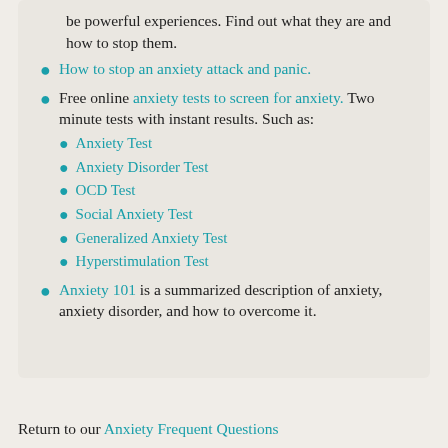be powerful experiences. Find out what they are and how to stop them.
How to stop an anxiety attack and panic.
Free online anxiety tests to screen for anxiety. Two minute tests with instant results. Such as: Anxiety Test, Anxiety Disorder Test, OCD Test, Social Anxiety Test, Generalized Anxiety Test, Hyperstimulation Test
Anxiety 101 is a summarized description of anxiety, anxiety disorder, and how to overcome it.
Return to our Anxiety Frequent Questions